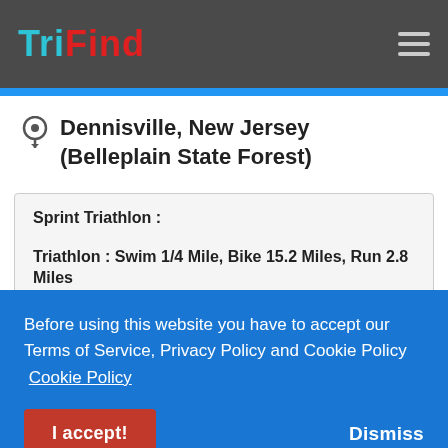TriFind
Dennisville, New Jersey (Belleplain State Forest)
Sprint Triathlon :
Triathlon : Swim 1/4 Mile, Bike 15.2 Miles, Run 2.8 Miles
Sprint Duathlon :
Before using this website you have to accept our Terms of Service, Privacy Policy and Cookie Policy  Cookie Policy
I accept!
Dismiss
USA